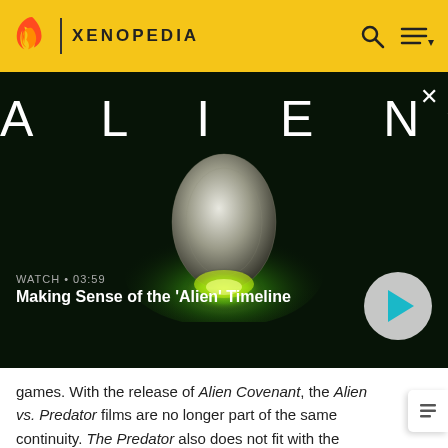XENOPEDIA
[Figure (screenshot): Alien movie promotional video thumbnail showing the ALIEN title in large spaced white letters over a dark green background, with a glowing alien egg/orb in the center emitting green light. A close X button appears top right. Watch label '03:59' and title 'Making Sense of the Alien Timeline' appear at the bottom with a teal play button.]
games. With the release of Alien Covenant, the Alien vs. Predator films are no longer part of the same continuity. The Predator also does not fit with the backstory presented by Prometheus.